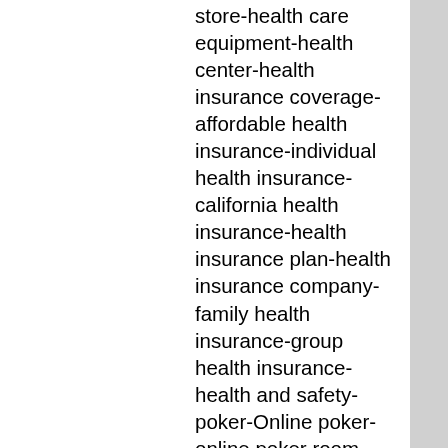store-health care equipment-health center-health insurance coverage-affordable health insurance-individual health insurance-california health insurance-health insurance plan-health insurance company-family health insurance-group health insurance-health and safety-poker-Online poker-online poker room-online poker game-online poker guide-poker game-video poker-free poker-poker room-free online poker-casino poker-internet poker-poker site-free poker game-free strip poker-online poker rooms-free online poker game-poker software-poker tip-online poker site-online poker tournament-online video poker-play free poker online-play free poker-poker download-free poker site-online casino poker-online poker gambling-free party poker-download party poker-party poker strip-free poker-free online strip poker-free poker tournament-free poker rooms-play poker for free site-verizon ringtones-download free verizon ringtone-free verizon wireless ringtone-free verizon cell phone ringtone-free ringtone for verizon phone-free verizon lg ringtone-free real ringtone for verizon-verizon lg vx6000 free ringtone-free verizon lg 3200 ringtone-